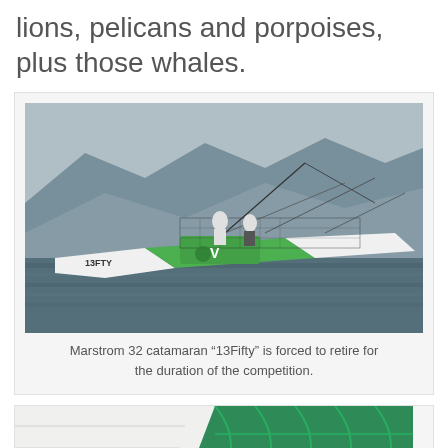lions, pelicans and porpoises, plus those whales.
[Figure (photo): Marstrom 32 catamaran '13Fifty' heeling heavily on choppy water with crew members working on deck, green and white hull visible, hilly urban background]
Marstrom 32 catamaran “13Fifty” is forced to retire for the duration of the competition.
[Figure (photo): Close-up of a green and white spinnaker or sail fabric showing panel seams and curves]